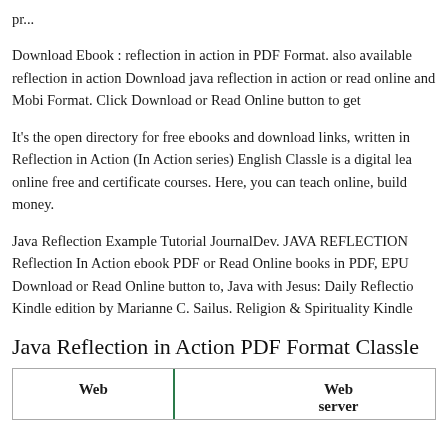pr...
Download Ebook : reflection in action in PDF Format. also available reflection in action Download java reflection in action or read online and Mobi Format. Click Download or Read Online button to get
It's the open directory for free ebooks and download links, written in Reflection in Action (In Action series) English Classle is a digital lea online free and certificate courses. Here, you can teach online, build money.
Java Reflection Example Tutorial JournalDev. JAVA REFLECTION Reflection In Action ebook PDF or Read Online books in PDF, EPU Download or Read Online button to, Java with Jesus: Daily Reflectio Kindle edition by Marianne C. Sailus. Religion & Spirituality Kindle
Java Reflection in Action PDF Format Classle
| Web |  | Web server |
| --- | --- | --- |